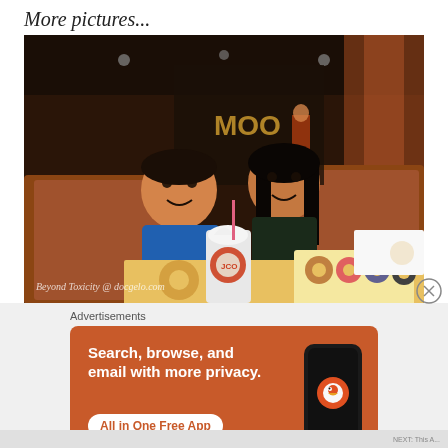More pictures...
[Figure (photo): Two people, a young girl and a woman, sitting in a restaurant booth with donuts and coffee drinks on the table. Watermark reads 'Beyond Toxicity @ docgelo.com']
Advertisements
[Figure (infographic): DuckDuckGo advertisement banner. Orange background. Text: 'Search, browse, and email with more privacy. All in One Free App'. Shows a smartphone with DuckDuckGo logo. DuckDuckGo wordmark at bottom right.]